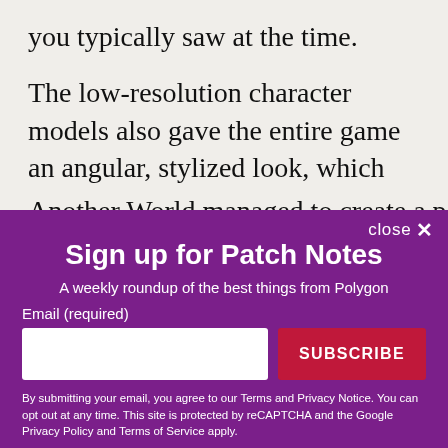you typically saw at the time.
The low-resolution character models also gave the entire game an angular, stylized look, which created visual consistency when the viewpoint shifted from side-on 2D action to character-focused cutscenes.
Another World managed to create a perfectly seamless
[Figure (screenshot): Newsletter signup modal overlay with purple background. Title: 'Sign up for Patch Notes'. Subtitle: 'A weekly roundup of the best things from Polygon'. Email input field and SUBSCRIBE button. Disclaimer text about Terms and Privacy Notice, reCAPTCHA, Google Privacy Policy and Terms of Service.]